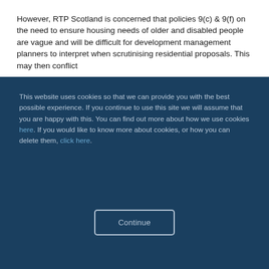However, RTP Scotland is concerned that policies 9(c) & 9(f) on the need to ensure housing needs of older and disabled people are vague and will be difficult for development management planners to interpret when scrutinising residential proposals. This may then conflict
This website uses cookies so that we can provide you with the best possible experience. If you continue to use this site we will assume that you are happy with this. You can find out more about how we use cookies here. If you would like to know more about cookies, or how you can delete them, click here.
Continue